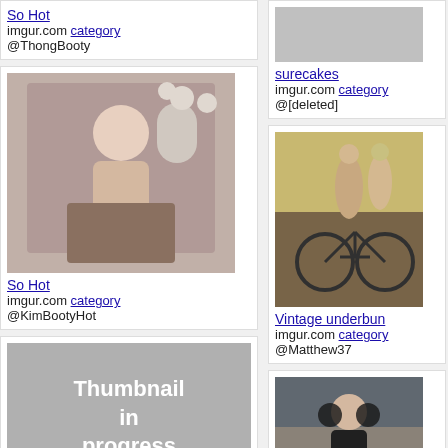So Hot
imgur.com category
@ThongBooty
[Figure (photo): Mirror selfie photo of a blonde woman in a bedroom]
So Hot
imgur.com category
@KimBootyHot
[Figure (photo): Thumbnail in progress placeholder]
[Figure (photo): Gray placeholder image at top right]
surecakes
imgur.com category
@[deleted]
[Figure (photo): Two women with a bicycle in a sunny field]
Vintage underbun
imgur.com category
@Matthew37
[Figure (photo): Woman in sunglasses on a city street]